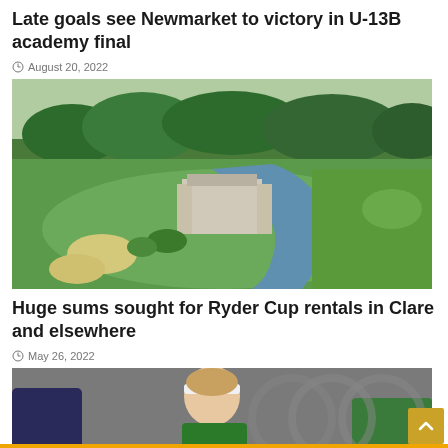Late goals see Newmarket to victory in U-13B academy final
August 20, 2022
[Figure (photo): Aerial view of a large estate or hotel building surrounded by golf course fairways, sand bunkers, and a river winding through lush green landscape with trees]
Huge sums sought for Ryder Cup rentals in Clare and elsewhere
May 26, 2022
[Figure (photo): Young female athlete wearing a white headband and green jersey running during a sporting event, with blurred background showing other athletes and an orange circle pattern]